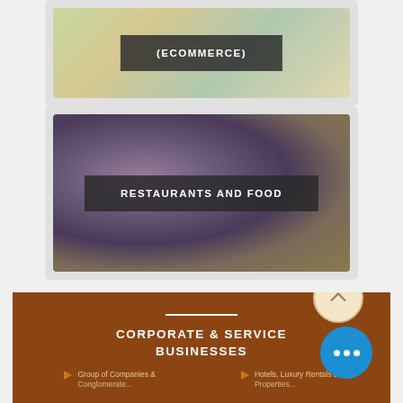[Figure (screenshot): Partially visible card with blurred ecommerce image and dark overlay label reading (ECOMMERCE)]
[Figure (screenshot): Card with blurred purple/brown food background image and dark overlay label reading RESTAURANTS AND FOOD]
[Figure (infographic): Brown footer section with Corporate & Service Businesses heading, scroll-up button, more button, and two list items: Group of Companies & ... and Hotels, Luxury Rentals & ...]